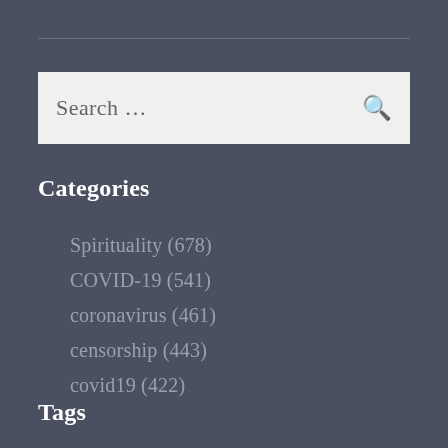[Figure (other): Search input box with placeholder text 'Search ...' and a search icon on the right]
Categories
Spirituality (678)
COVID-19 (541)
coronavirus (461)
censorship (443)
covid19 (422)
Tags